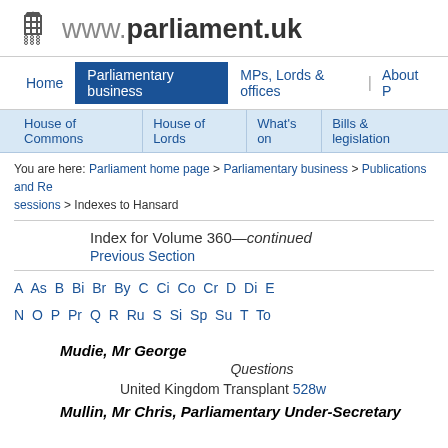www.parliament.uk
Home | Parliamentary business | MPs, Lords & offices | About Parliament
House of Commons | House of Lords | What's on | Bills & legislation
You are here: Parliament home page > Parliamentary business > Publications and Records > sessions > Indexes to Hansard
Index for Volume 360—continued
Previous Section
A As B Bi Br By C Ci Co Cr D Di E N O P Pr Q R Ru S Si Sp Su T To
Mudie, Mr George
Questions
United Kingdom Transplant 528w
Mullin, Mr Chris, Parliamentary Under-Secretary